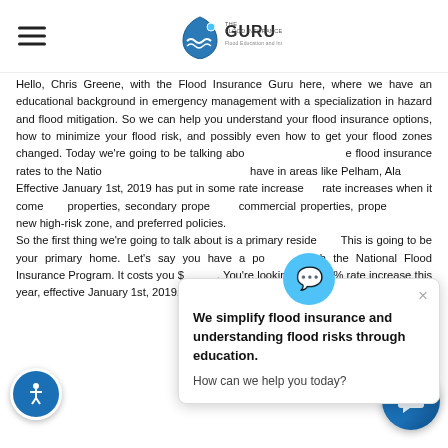The Flood Insurance Guru - Flood Education and Insurance
Hello, Chris Greene, with the Flood Insurance Guru here, where we have an educational background in emergency management with a specialization in hazard and flood mitigation. So we can help you understand your flood insurance options, how to minimize your flood risk, and possibly even how to get your flood zones changed. Today we're going to be talking about the changes to the flood insurance rates to the National [Flood Insurance Program] that we have in areas like Pelham, Alabama. Effective January 1st, 2019 has put in some rate increases... rate increases when it comes to properties, secondary properties, commercial properties, properties put into a new high-risk zone, and preferred policies.
[Figure (other): Chat popup overlay with flood insurance guru icon, text 'We simplify flood insurance and understanding flood risks through education. How can we help you today?']
So the first thing we're going to talk about is a primary residence. This is going to be your primary home. Let's say you have a policy through the National Flood Insurance Program. It costs you $[X]. You're looking at a 7.2% rate increase this year, effective January 1st, 2019, which is going to have an impact on you of about